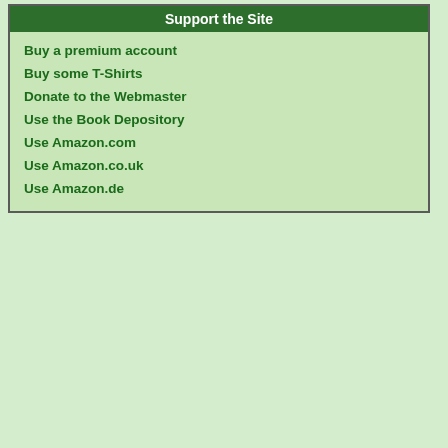Support the Site
Buy a premium account
Buy some T-Shirts
Donate to the Webmaster
Use the Book Depository
Use Amazon.com
Use Amazon.co.uk
Use Amazon.de
months, not just days - but Wingrow building, or employing thematic iron that feels like something out of the S history) to hint at greater events to c
As well as being rather slow, the ma Heaven was that it had a tendency t the Chinese characters. It's a massi Daylight on Iron Mountain. The char heroes, villains, the selfish and the s however they can. Normally cold-he one of the most powerful men on Ea ultimate price for victory and genera of the deaths they are about to caus characterisation does not extend to more of a cliched antagonist with a s smashing up priceless antiques with
Beyond this element, Daylight on Iro every single way. There's a larger a there's some impressive action and the book's pacing as the characters characters (most notably Ch'un) suf pacing, but overall this is a compelli reader eager for more.